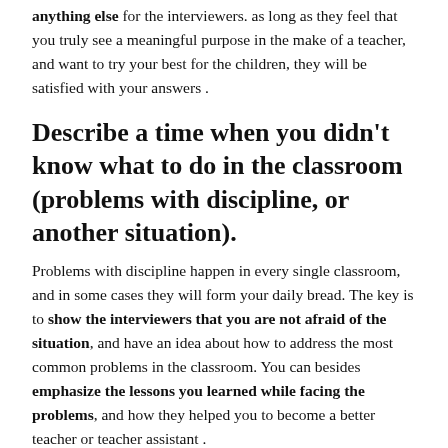anything else for the interviewers, as long as they feel that you truly see a meaningful purpose in the make of a teacher, and want to try your best for the children, they will be satisfied with your answers .
Describe a time when you didn't know what to do in the classroom (problems with discipline, or another situation).
Problems with discipline happen in every single classroom, and in some cases they will form your daily bread. The key is to show the interviewers that you are not afraid of the situation, and have an idea about how to address the most common problems in the classroom. You can besides emphasize the lessons you learned while facing the problems, and how they helped you to become a better teacher or teacher assistant .